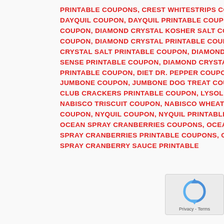PRINTABLE COUPONS, CREST WHITESTRIPS COUPON, CREST WHITESTRIPS PRINTABLE COUPON, DAYQUIL COUPON, DAYQUIL PRINTABLE COUPON, DAYQUIL PRINTABLE COUPONS, DIAMOND CRYSTAL COUPON, DIAMOND CRYSTAL KOSHER SALT COUPON, DIAMOND CRYSTAL KOSHER SALT PRINTABLE COUPON, DIAMOND CRYSTAL PRINTABLE COUPON, DIAMOND CRYSTAL SALT COUPON, DIAMOND CRYSTAL SALT PRINTABLE COUPON, DIAMOND CRYSTAL SALT SENSE COUPON, DIAMOND CRYSTAL SALT SENSE PRINTABLE COUPON, DIAMOND CRYSTAL SEA SALT COUPON, DIAMOND CRYSTAL SEA SALT PRINTABLE COUPON, DIET DR. PEPPER COUPON, DR. PEPPER COUPON, DR. PEPPER COUPONS, JUMBONE COUPON, JUMBONE DOG TREAT COUPON, KEEBLER CLUB CRACKERS COUPON, KEEBLER CLUB CRACKERS PRINTABLE COUPON, LYSOL TRIGGER SPRAY COUPON, NABISCO PRINTABLE COUPON, NABISCO TRISCUIT COUPON, NABISCO WHEAT THINS COUPON, NABISCO WHEAT THINS PRINTABLE COUPON, NYQUIL COUPON, NYQUIL PRINTABLE COUPON, OCEAN SPRAY CRANBERRIES COUPON, OCEAN SPRAY CRANBERRIES COUPONS, OCEAN SPRAY CRANBERRIES PRINTABLE COUPON, OCEAN SPRAY CRANBERRIES PRINTABLE COUPONS, OCEAN SPRAY CRANBERRY SAUCE COUPON, OCEAN SPRAY CRANBERRY SAUCE PRINTABLE
[Figure (other): reCAPTCHA widget with blue circular arrow icon and 'Privacy - Terms' label]